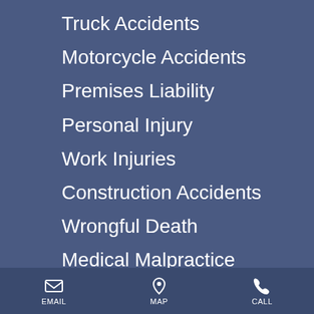Truck Accidents
Motorcycle Accidents
Premises Liability
Personal Injury
Work Injuries
Construction Accidents
Wrongful Death
Medical Malpractice
Nursing Home Negligence
EMAIL  MAP  CALL